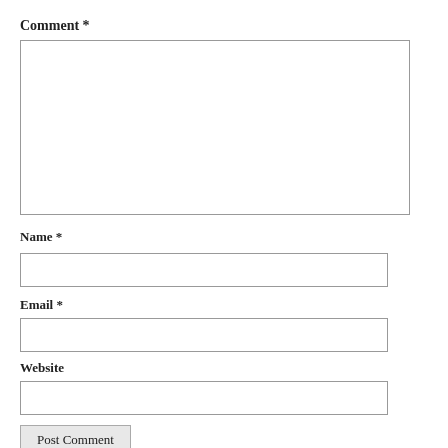Comment *
[Figure (other): Large empty textarea input box for comment]
Name *
[Figure (other): Single-line text input box for Name]
Email *
[Figure (other): Single-line text input box for Email]
Website
[Figure (other): Single-line text input box for Website]
Post Comment